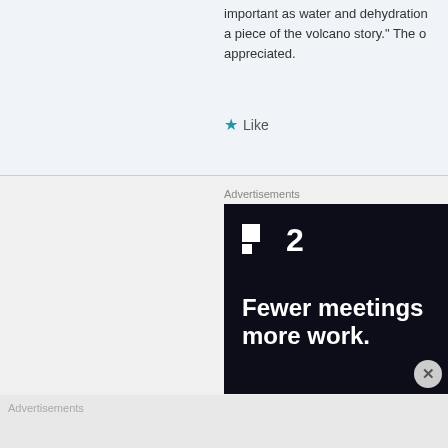important as water and dehydration a piece of the volcano story.” The appreciated.
★ Like
Advertisements
[Figure (other): Advertisement banner for a product branded with a puzzle-piece style logo and '2'. Headline reads 'Fewer meetings more work.' on a dark navy background.]
Advertisements